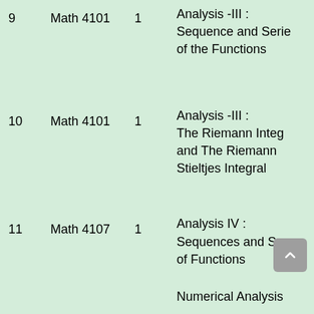| # | Course Code | Credit | Course Name |
| --- | --- | --- | --- |
| 9 | Math 4101 | 1 | Analysis -III : Sequence and Series of the Functions |
| 10 | Math 4101 | 1 | Analysis -III : The Riemann Integral and The Riemann Stieltjes Integral |
| 11 | Math 4107 | 1 | Analysis IV : Sequences and Series of Functions |
|  |  |  | Numerical Analysis |